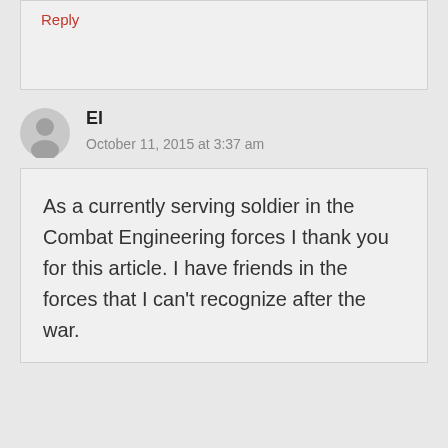Reply
El
October 11, 2015 at 3:37 am
As a currently serving soldier in the Combat Engineering forces I thank you for this article. I have friends in the forces that I can't recognize after the war.